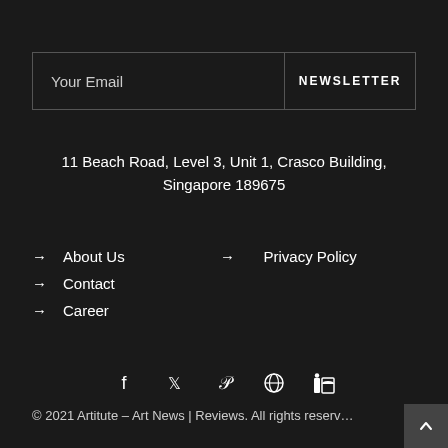Your Email | NEWSLETTER
11 Beach Road, Level 3, Unit 1, Crasco Building, Singapore 189675
→ About Us
→ Contact
→ Career
→ Privacy Policy
[Figure (infographic): Social media icons: Facebook, Twitter, Pinterest, Dribbble, LinkedIn]
© 2021 Artitute – Art News | Reviews. All rights reserved